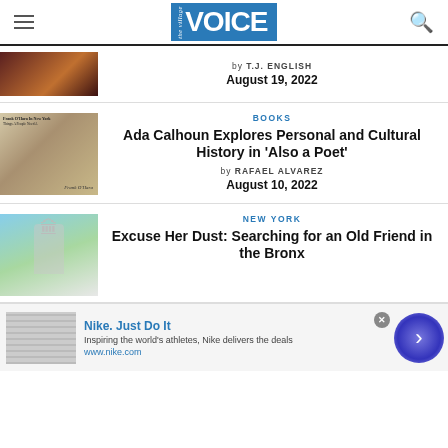The Village Voice
[Figure (photo): Partial thumbnail of dark reddish photo on left side]
by T.J. ENGLISH
August 19, 2022
[Figure (photo): Sepia newspaper clipping with Frank O'Hara caption]
BOOKS
Ada Calhoun Explores Personal and Cultural History in 'Also a Poet'
by RAFAEL ALVAREZ
August 10, 2022
[Figure (photo): Photo of outdoor monument statue against blue sky]
NEW YORK
Excuse Her Dust: Searching for an Old Friend in the Bronx
[Figure (screenshot): Nike advertisement banner with logo and arrow button]